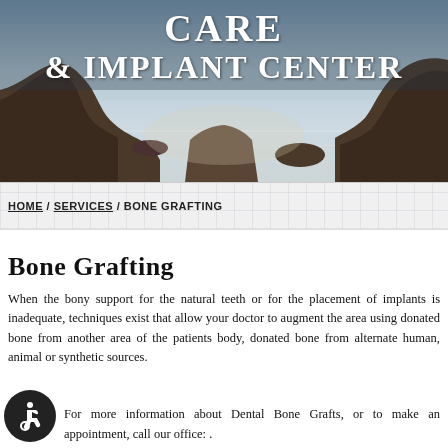[Figure (photo): Coastal scene with rocks and water at dusk/dawn, used as a decorative hero banner. Overlaid with text reading 'CARE & IMPLANT CENTER'.]
HOME / SERVICES / BONE GRAFTING
Bone Grafting
When the bony support for the natural teeth or for the placement of implants is inadequate, techniques exist that allow your doctor to augment the area using donated bone from another area of the patients body, donated bone from alternate human, animal or synthetic sources.
For more information about Dental Bone Grafts, or to make an appointment, call our office: .